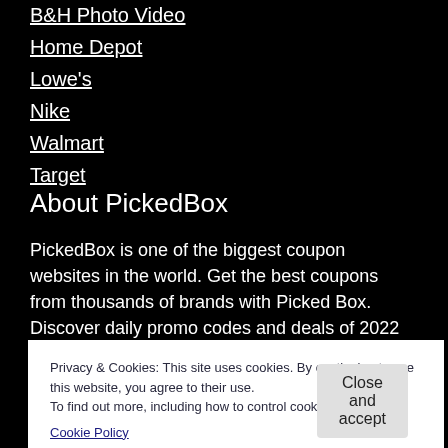B&H Photo Video
Home Depot
Lowe's
Nike
Walmart
Target
About PickedBox
PickedBox is one of the biggest coupon websites in the world. Get the best coupons from thousands of brands with Picked Box. Discover daily promo codes and deals of 2022 by PickedBox. It was founded by Mert Gurdal in 2017. We have been trusted partner of world's largest retailers, since 2017.
Privacy & Cookies: This site uses cookies. By continuing to use this website, you agree to their use.
To find out more, including how to control cookies, see here:
Cookie Policy
Close and accept
Accessory